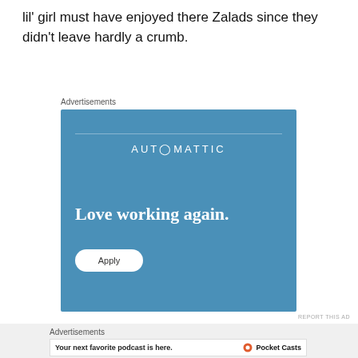lil' girl must have enjoyed there Zalads since they didn't leave hardly a crumb.
Advertisements
[Figure (screenshot): Automattic advertisement with blue background. Shows 'AUTOMATTIC' brand name, tagline 'Love working again.' and an 'Apply' button.]
REPORT THIS AD
Advertisements
[Figure (screenshot): Pocket Casts advertisement: 'Your next favorite podcast is here.' with Pocket Casts logo and phone screenshot.]